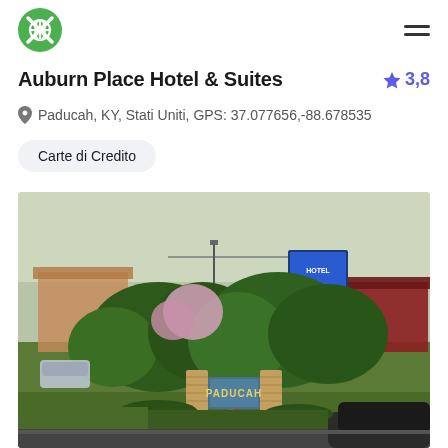Auburn Place Hotel & Suites app header with logo and hamburger menu
Auburn Place Hotel & Suites
3,8 (star rating)
Paducah, KY, Stati Uniti, GPS: 37.077656,-88.678535
Carte di Credito
[Figure (photo): Exterior photo of Auburn Place Hotel & Suites in Paducah, KY, showing a sign reading PADUCAH surrounded by green trees and bushes, brick pillars, green lawn, and the hotel building in the background.]